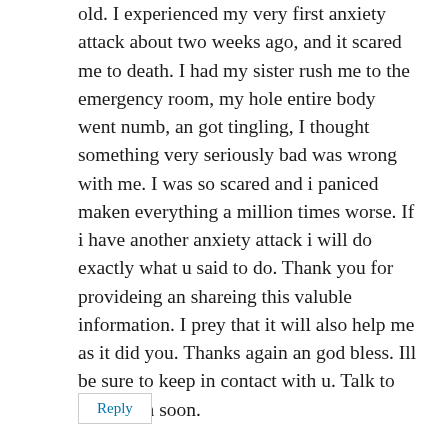old. I experienced my very first anxiety attack about two weeks ago, and it scared me to death. I had my sister rush me to the emergency room, my hole entire body went numb, an got tingling, I thought something very seriously bad was wrong with me. I was so scared and i paniced maken everything a million times worse. If i have another anxiety attack i will do exactly what u said to do. Thank you for provideing an shareing this valuble information. I prey that it will also help me as it did you. Thanks again an god bless. Ill be sure to keep in contact with u. Talk to you again soon.
Reply